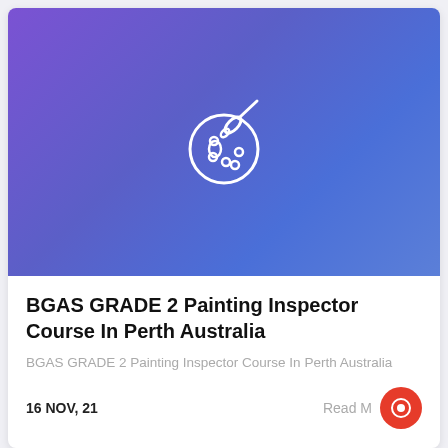[Figure (illustration): Purple-to-blue gradient background with a white outline paint palette and brush icon centered in the image area]
BGAS GRADE 2 Painting Inspector Course In Perth Australia
BGAS GRADE 2 Painting Inspector Course In Perth Australia
16 NOV, 21
Read M